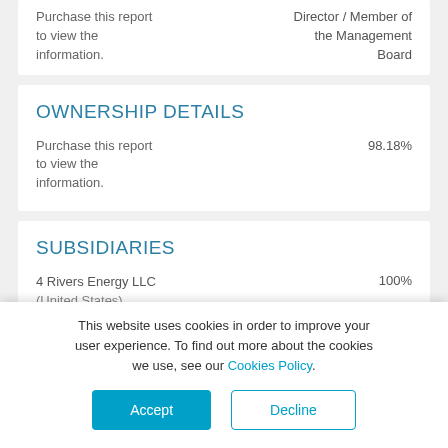Purchase this report to view the information.
Director / Member of the Management Board
OWNERSHIP DETAILS
Purchase this report to view the information.
98.18%
SUBSIDIARIES
4 Rivers Energy LLC (United States)
100%
This website uses cookies in order to improve your user experience. To find out more about the cookies we use, see our Cookies Policy.